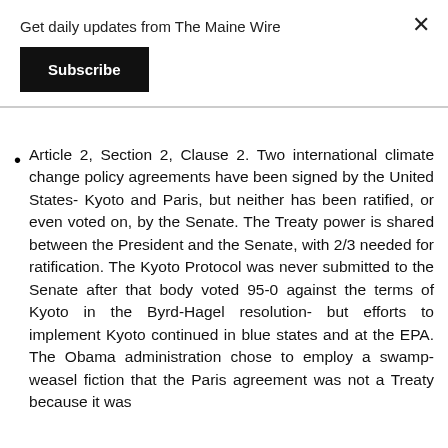Get daily updates from The Maine Wire
Subscribe
Article 2, Section 2, Clause 2. Two international climate change policy agreements have been signed by the United States- Kyoto and Paris, but neither has been ratified, or even voted on, by the Senate. The Treaty power is shared between the President and the Senate, with 2/3 needed for ratification. The Kyoto Protocol was never submitted to the Senate after that body voted 95-0 against the terms of Kyoto in the Byrd-Hagel resolution- but efforts to implement Kyoto continued in blue states and at the EPA. The Obama administration chose to employ a swamp-weasel fiction that the Paris agreement was not a Treaty because it was